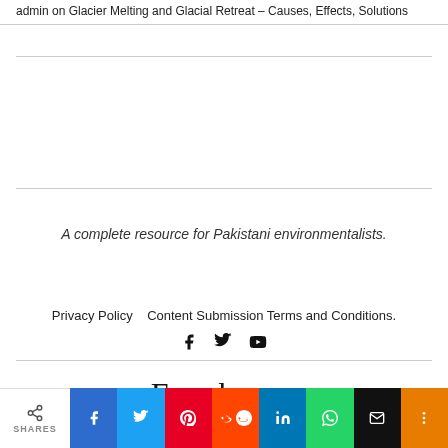admin on Glacier Melting and Glacial Retreat – Causes, Effects, Solutions
A complete resource for Pakistani environmentalists.
Privacy Policy   Content Submission Terms and Conditions.
Envpk.com
SHARES  f  t  pinterest  reddit  in  whatsapp  email  +